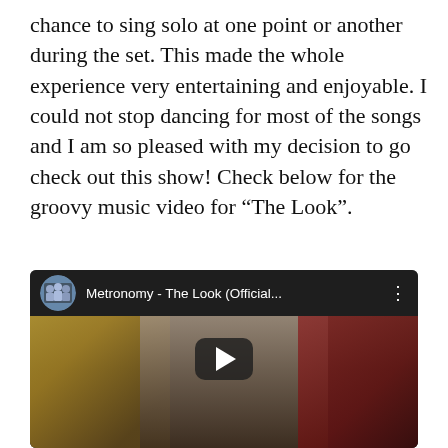chance to sing solo at one point or another during the set. This made the whole experience very entertaining and enjoyable. I could not stop dancing for most of the songs and I am so pleased with my decision to go check out this show! Check below for the groovy music video for “The Look”.
[Figure (screenshot): Embedded YouTube video player showing Metronomy - The Look (Official...) with a play button overlay. The thumbnail shows band members, with one person at a keyboard in the center, a guitarist on the left, and a person in red on the right. The video title bar shows the YouTube logo thumbnail circle and three-dot menu.]